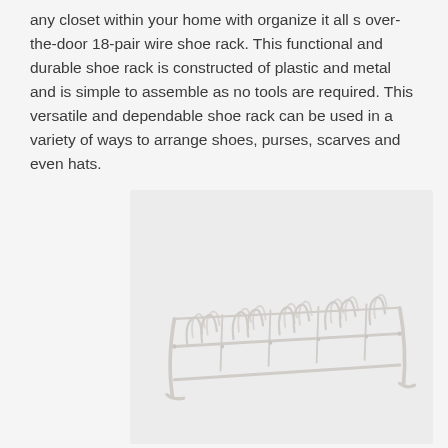any closet within your home with organize it all s over-the-door 18-pair wire shoe rack. This functional and durable shoe rack is constructed of plastic and metal and is simple to assemble as no tools are required. This versatile and dependable shoe rack can be used in a variety of ways to arrange shoes, purses, scarves and even hats.
[Figure (photo): A white wire over-the-door 18-pair shoe rack shown from a front-angled perspective. The rack has multiple wire loops arranged in rows for holding shoes, with a curved frame and feet at the bottom.]